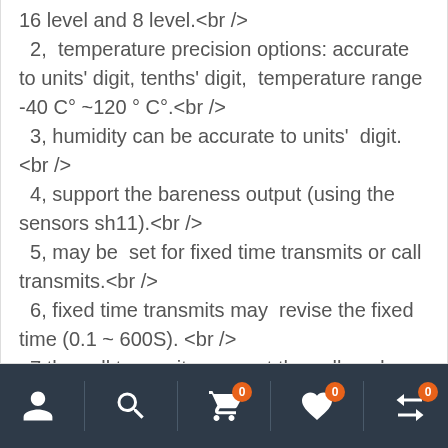16 level and 8 level.<br />
  2,  temperature precision options: accurate to units' digit, tenths' digit,  temperature range -40 C° ~120 ° C°.<br />
  3, humidity can be accurate to units'  digit.<br />
  4, support the bareness output (using the sensors sh11).<br />
  5, may be  set for fixed time transmits or call transmits.<br />
  6, fixed time transmits may  revise the fixed time (0.1 ~ 600S). <br />
  7,the call transmits may set the call  code.(Permission 6 bytes call codes mostly). <br />
Navigation bar with icons: user, search, cart (0), wishlist (0), compare (0)